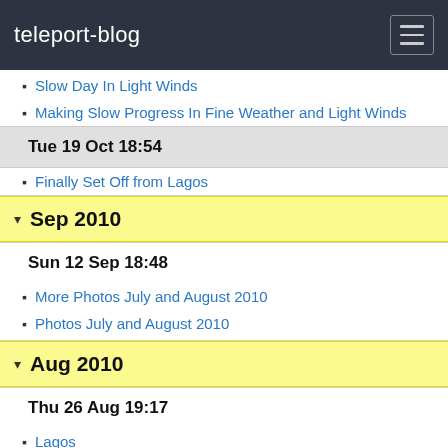teleport-blog
Slow Day In Light Winds
Making Slow Progress In Fine Weather and Light Winds
Tue 19 Oct 18:54
Finally Set Off from Lagos
Sep 2010
Sun 12 Sep 18:48
More Photos July and August 2010
Photos July and August 2010
Aug 2010
Thu 26 Aug 19:17
Lagos
Wed 25 Aug 19:08
Anchor ar Sagres just past Cape St Vincent
Sun 22 Aug 19:07
Sines